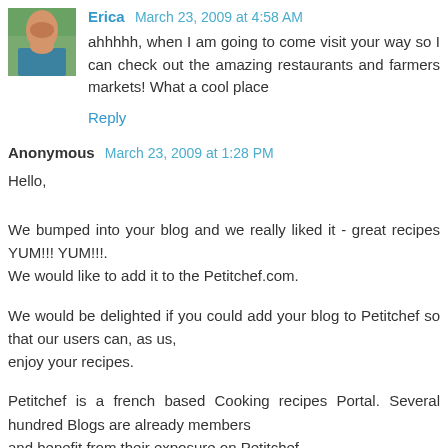Erica  March 23, 2009 at 4:58 AM
ahhhhh, when I am going to come visit your way so I can check out the amazing restaurants and farmers markets! What a cool place
Reply
Anonymous  March 23, 2009 at 1:28 PM
Hello,
We bumped into your blog and we really liked it - great recipes YUM!!! YUM!!!.
We would like to add it to the Petitchef.com.
We would be delighted if you could add your blog to Petitchef so that our users can, as us,
enjoy your recipes.
Petitchef is a french based Cooking recipes Portal. Several hundred Blogs are already members
and benefit from their exposure on Petitchef.